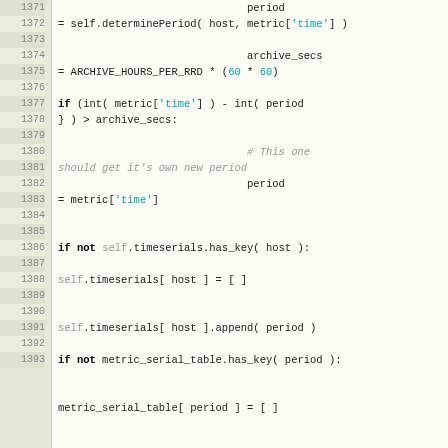[Figure (screenshot): Source code listing showing Python code lines 1371–1393, with line numbers on the left gutter and code on the right. Code includes period assignment via determinePeriod, archive_secs computation, conditional logic, and data structure manipulations with timeserials and metric_serial_table.]